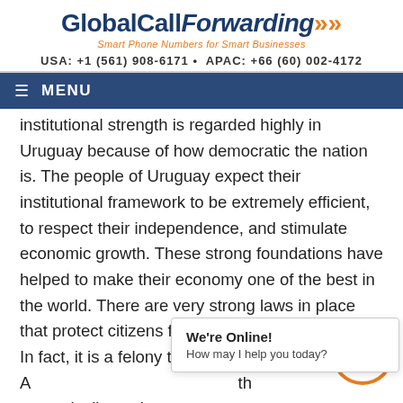[Figure (logo): Global Call Forwarding logo with orange tagline 'Smart Phone Numbers for Smart Businesses']
USA: +1 (561) 908-6171 • APAC: +66 (60) 002-4172
≡ MENU
institutional strength is regarded highly in Uruguay because of how democratic the nation is. The people of Uruguay expect their institutional framework to be extremely efficient, to respect their independence, and stimulate economic growth. These strong foundations have helped to make their economy one of the best in the world. There are very strong laws in place that protect citizens from bribery and corruption. In fact, it is a felony to accept a bribe in Uruguay. A strategically put in p th encourage a civil fairness in business
We're Online! How may I help you today?